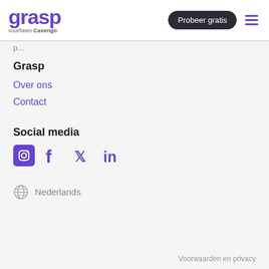grasp voorheen Casengo | Probeer gratis
Grasp
Over ons
Contact
Social media
[Figure (illustration): Social media icons: Instagram, Facebook, Twitter, LinkedIn in purple]
Nederlands
Voorwaarden en privacy